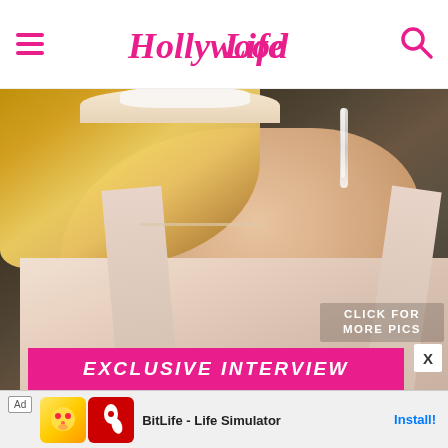Hollywood Life
[Figure (photo): Close-up photo of a blonde woman in a blush/pink satin gown with crystal drop earrings, smiling, at what appears to be a red carpet or premiere event with dark bokeh background. Text overlay says 'CLICK FOR MORE PICS' in the lower right.]
CLICK FOR MORE PICS
EXCLUSIVE INTERVIEW
X
Ad  BitLife - Life Simulator  Install!